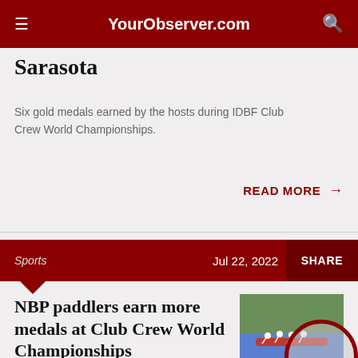YourObserver.com
Sarasota
Six gold medals earned by the hosts during IDBF Club Crew World Championships.
READ MORE →
Sports   Jul 22, 2022   SHARE
NBP paddlers earn more medals at Club Crew World Championships
[Figure (photo): Photo of paddlers in a dragon boat race at Club Crew World Championships]